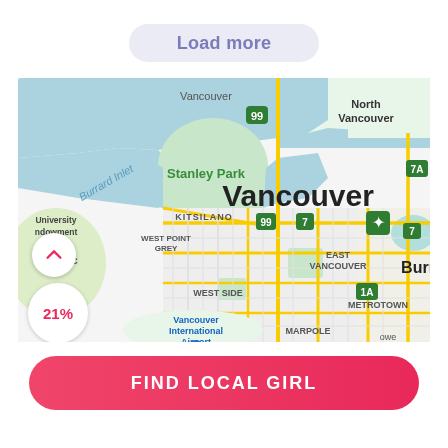Load more
[Figure (map): Google Maps view of Vancouver, BC, Canada showing Burrard Inlet, Stanley Park, Kitsilano, West Point Grey, UBC, University Endowment Lands, East Vancouver, West Side, Marpole, Vancouver International Airport, North Vancouver, Burnaby/Metrotown area, with road network. A circular button with an up chevron and a 21% badge overlay in the lower left.]
FIND LOCAL GIRL